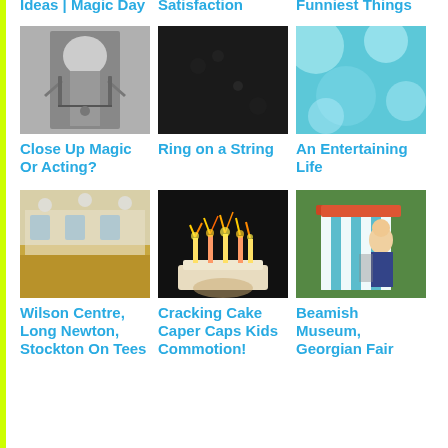Ideas | Magic Day
Satisfaction
Funniest Things
[Figure (photo): Black and white photo of a person in chains, possibly an escape artist or magic act]
[Figure (photo): Dark/black texture or surface photo]
[Figure (photo): Teal/cyan bokeh background with soft circular light blobs]
Close Up Magic Or Acting?
Ring on a String
An Entertaining Life
[Figure (photo): Interior of Wilson Centre hall room with wooden floor and pendant lights]
[Figure (photo): Birthday cake with sparkling candles being held up]
[Figure (photo): Person standing in front of a blue and white striped booth at Beamish Museum Georgian Fair]
Wilson Centre, Long Newton, Stockton On Tees
Cracking Cake Caper Caps Kids Commotion!
Beamish Museum, Georgian Fair